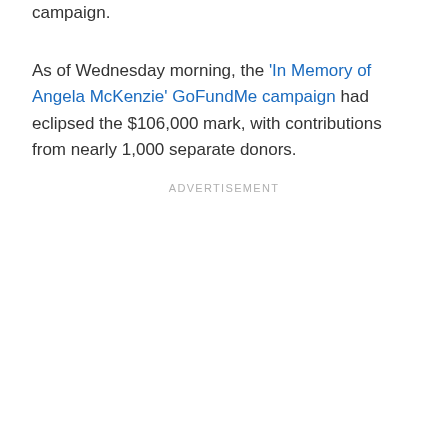campaign.
As of Wednesday morning, the 'In Memory of Angela McKenzie' GoFundMe campaign had eclipsed the $106,000 mark, with contributions from nearly 1,000 separate donors.
ADVERTISEMENT